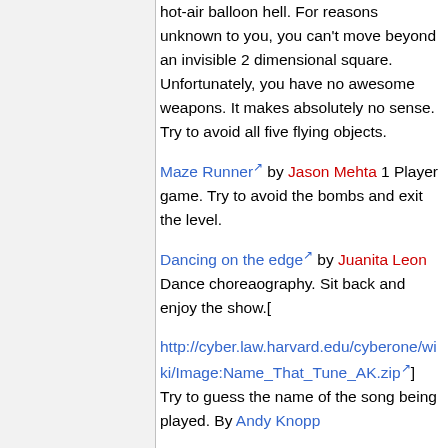hot-air balloon hell. For reasons unknown to you, you can't move beyond an invisible 2 dimensional square. Unfortunately, you have no awesome weapons. It makes absolutely no sense. Try to avoid all five flying objects.
Maze Runner by Jason Mehta 1 Player game. Try to avoid the bombs and exit the level.
Dancing on the edge by Juanita Leon Dance choreaography. Sit back and enjoy the show.[
http://cyber.law.harvard.edu/cyberone/wiki/Image:Name_That_Tune_AK.zip] Try to guess the name of the song being played. By Andy Knopp
Danger Cat Takes on the World by David -- For 1 Player. Help Danger Cat avoid all manner of trouble as he tries to